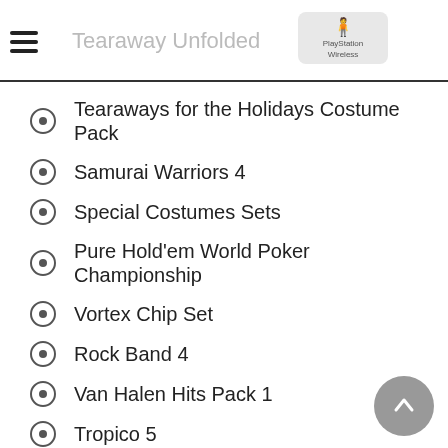Tearaway Unfolded
Tearaways for the Holidays Costume Pack
Samurai Warriors 4
Special Costumes Sets
Pure Hold'em World Poker Championship
Vortex Chip Set
Rock Band 4
Van Halen Hits Pack 1
Tropico 5
Espionage
Minecraft: Story Mode
Episode 3: The Last Place You Look